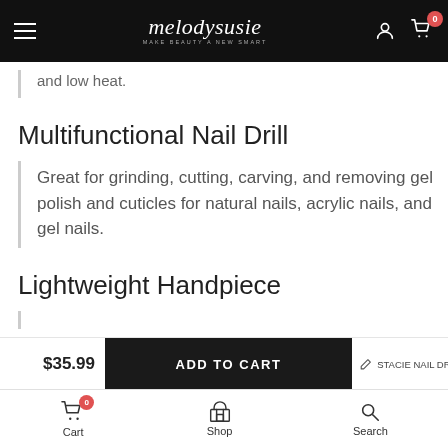melodysusie — MAKE BEAUTY A NEW SMART
and low heat.
Multifunctional Nail Drill
Great for grinding, cutting, carving, and removing gel polish and cuticles for natural nails, acrylic nails, and gel nails.
Lightweight Handpiece
$35.99  ADD TO CART  STACIE NAIL DRIL
Cart 0  Shop  Search